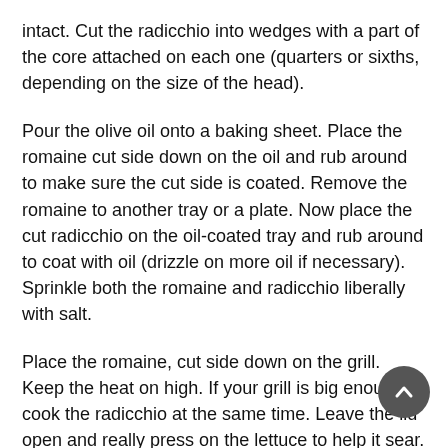intact. Cut the radicchio into wedges with a part of the core attached on each one (quarters or sixths, depending on the size of the head).
Pour the olive oil onto a baking sheet. Place the romaine cut side down on the oil and rub around to make sure the cut side is coated. Remove the romaine to another tray or a plate. Now place the cut radicchio on the oil-coated tray and rub around to coat with oil (drizzle on more oil if necessary). Sprinkle both the romaine and radicchio liberally with salt.
Place the romaine, cut side down on the grill. Keep the heat on high. If your grill is big enough, cook the radicchio at the same time. Leave the lid open and really press on the lettuce to help it sear. After a minute or so, turn the lettuce and radicchio and grill the second side.